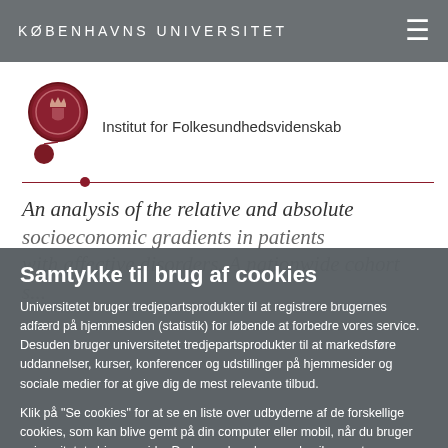KØBENHAVNS UNIVERSITET
[Figure (logo): Københavns Universitet circular seal logo in dark red, with a smaller dark red dot below it, on white background]
Institut for Folkesundhedsvidenskab
An analysis of the relative and absolute ... socioeconomic gradients in patients with affective disorders. A nationwide cohort s...
Samtykke til brug af cookies
Universitetet bruger tredjepartsprodukter til at registrere brugernes adfærd på hjemmesiden (statistik) for løbende at forbedre vores service. Desuden bruger universitetet tredjepartsprodukter til at markedsføre uddannelser, kurser, konferencer og udstillinger på hjemmesider og sociale medier for at give dig de mest relevante tilbud.
Klik på "Se cookies" for at se en liste over udbyderne af de forskellige cookies, som kan blive gemt på din computer eller mobil, når du bruger universitetets hjemmeside. Du kan selvvælge om du vil acceptere